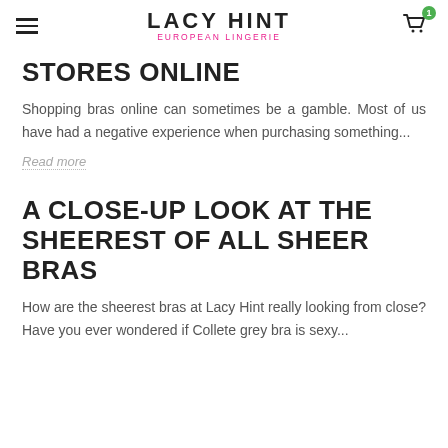LACY HINT EUROPEAN LINGERIE
STORES ONLINE
Shopping bras online can sometimes be a gamble. Most of us have had a negative experience when purchasing something...
Read more
A CLOSE-UP LOOK AT THE SHEEREST OF ALL SHEER BRAS
How are the sheerest bras at Lacy Hint really looking from close? Have you ever wondered if Collete grey bra is sexy...